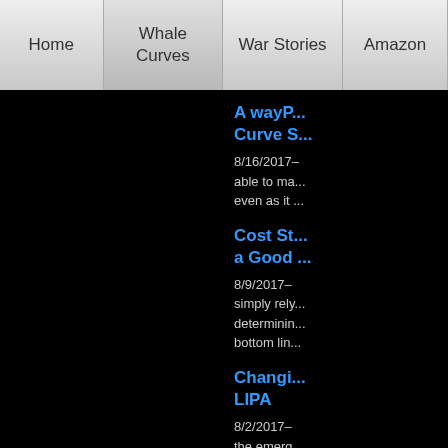Home | Whale Curves | War Stories | Amazon | Sa...
A wayP... Curve S...
8/16/2017– able to ma... even as it ...
Cost St... a Good ...
8/9/2017– simply rely... determinin... bottom lin...
Changi... LIPA
8/2/2017– the emerg...